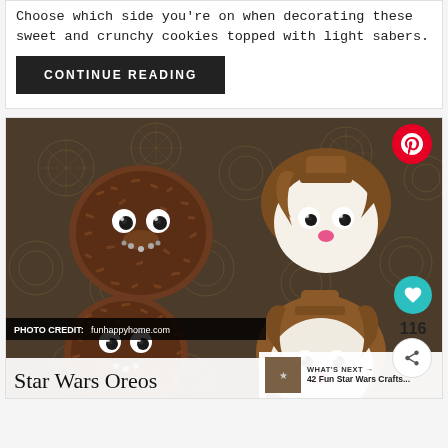Choose which side you're on when decorating these sweet and crunchy cookies topped with light sabers.
CONTINUE READING
[Figure (photo): Star Wars themed Oreo cookies decorated to look like characters — some covered in chocolate sprinkles with candy eyes, others with white chocolate and brown hair-like chocolate decorations with pink candy noses. Background is dark gold starburst patterned paper. Overlay text reads 'PHOTO CREDIT: funhappyhome.com' and title 'Star Wars Oreos'. Social sharing buttons visible on right side including Pinterest, heart/like (116), and share icons. 'WHAT'S NEXT' panel shows '42 Fun Star Wars Crafts...'.]